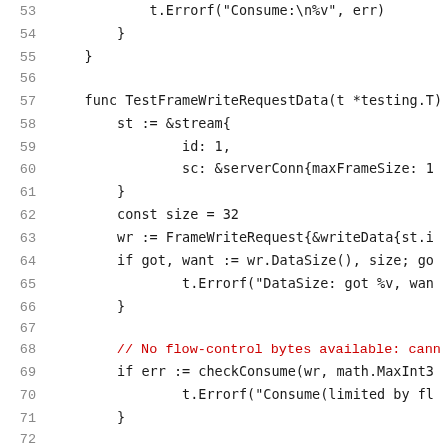Code listing lines 53-74, Go programming language source code showing TestFrameWriteRequestData function and related code
53: t.Errorf("Consume:\n%v", err)
54: }
55: }
56: (blank)
57: func TestFrameWriteRequestData(t *testing.T) {
58: st := &stream{
59: id: 1,
60: sc: &serverConn{maxFrameSize: 1...
61: }
62: const size = 32
63: wr := FrameWriteRequest{&writeData{st.i...
64: if got, want := wr.DataSize(), size; go...
65: t.Errorf("DataSize: got %v, wan...
66: }
67: (blank)
68: // No flow-control bytes available: cann...
69: if err := checkConsume(wr, math.MaxInt3...
70: t.Errorf("Consume(limited by fl...
71: }
72: (blank)
73: // Add enough flow-control bytes to cons...
74: (partial)